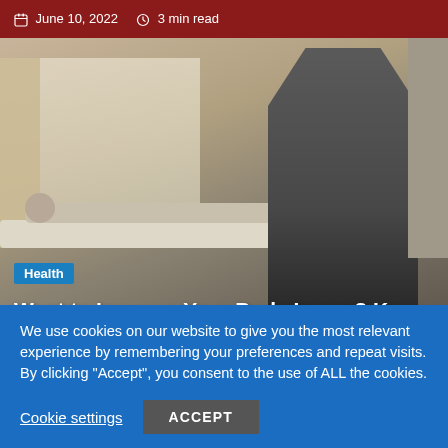June 10, 2022   3 min read
[Figure (photo): A therapist or practitioner standing at the foot of a massage table, attending to a patient lying face up. Room setting with window, curtain, and shelving visible in background.]
Want to Improve Your Body Image? Keep These Pointers in Mind
May 25, 2022   3 min read
We use cookies on our website to give you the most relevant experience by remembering your preferences and repeat visits. By clicking "Accept", you consent to the use of ALL the cookies.